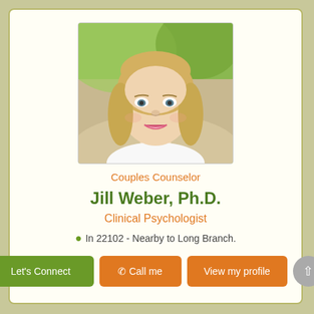[Figure (photo): Professional headshot of a smiling blonde woman, Jill Weber Ph.D., outdoors with green background]
Couples Counselor
Jill Weber, Ph.D.
Clinical Psychologist
In 22102 - Nearby to Long Branch.
Let's Connect  ☎ Call me  View my profile